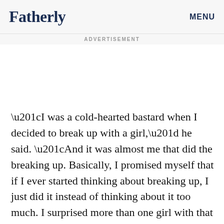Fatherly   MENU
ADVERTISEMENT
“I was a cold-hearted bastard when I decided to break up with a girl,” he said. “And it was almost me that did the breaking up. Basically, I promised myself that if I ever started thinking about breaking up, I just did it instead of thinking about it too much. I surprised more than one girl with that tactic. But I figured there was no good to be had by wasting anyone’s time.”